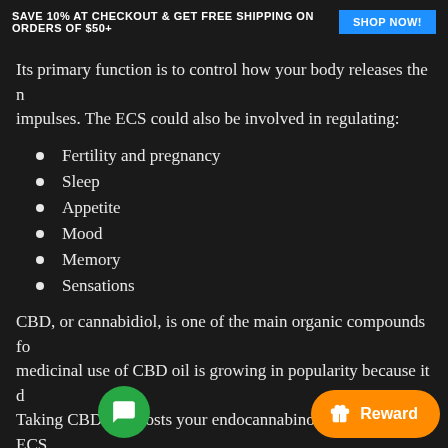SAVE 10% AT CHECKOUT & GET FREE SHIPPING ON ORDERS OF $50+  SHOP NOW!
Its primary function is to control how your body releases the n... impulses. The ECS could also be involved in regulating:
Fertility and pregnancy
Sleep
Appetite
Mood
Memory
Sensations
CBD, or cannabidiol, is one of the main organic compounds fo... medicinal use of CBD oil is growing in popularity because it d... Taking CBD oil boosts your endocannabinoids so that the ECS
How does CBD oil influence your h...